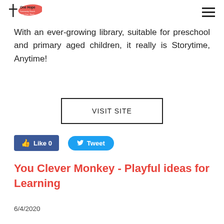One Hope Community Church
With an ever-growing library, suitable for preschool and primary aged children, it really is Storytime, Anytime!
VISIT SITE
Like 0   Tweet
You Clever Monkey - Playful ideas for Learning
6/4/2020